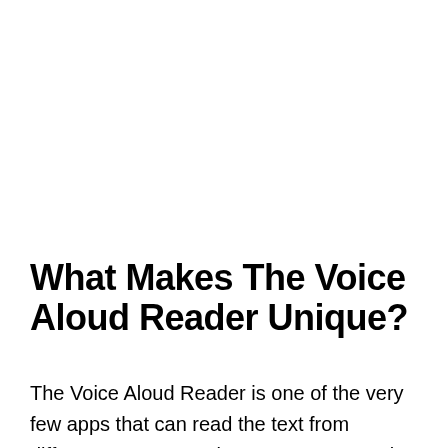What Makes The Voice Aloud Reader Unique?
The Voice Aloud Reader is one of the very few apps that can read the text from different sources. It also supports several types of file